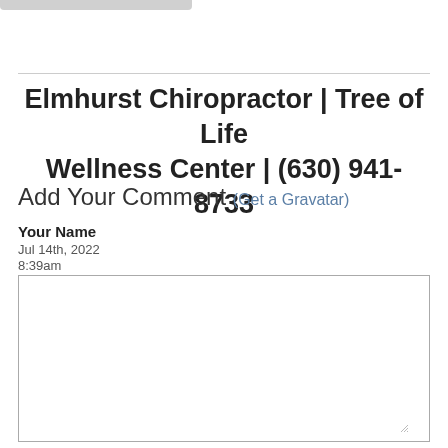Elmhurst Chiropractor | Tree of Life Wellness Center | (630) 941-8733
Add Your Comment (Get a Gravatar)
Your Name
Jul 14th, 2022
8:39am